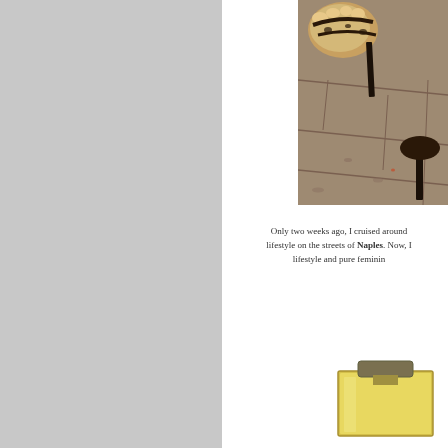[Figure (photo): Close-up photo of high-heel shoes on cobblestone street, top-right of page]
Only two weeks ago, I cruised around lifestyle on the streets of Naples. Now, I lifestyle and pure feminin
[Figure (photo): Partial image of a gold/golden perfume or product bottle at the bottom right]